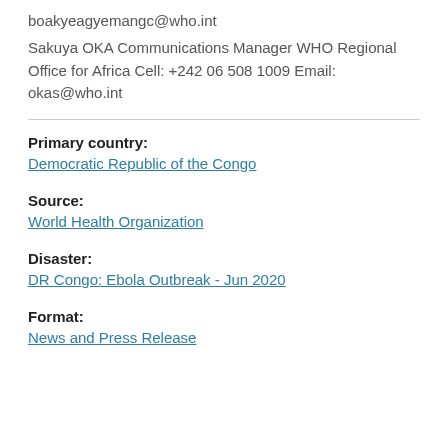boakyeagyemangc@who.int
Sakuya OKA Communications Manager WHO Regional Office for Africa Cell: +242 06 508 1009 Email: okas@who.int
Primary country:
Democratic Republic of the Congo
Source:
World Health Organization
Disaster:
DR Congo: Ebola Outbreak - Jun 2020
Format:
News and Press Release